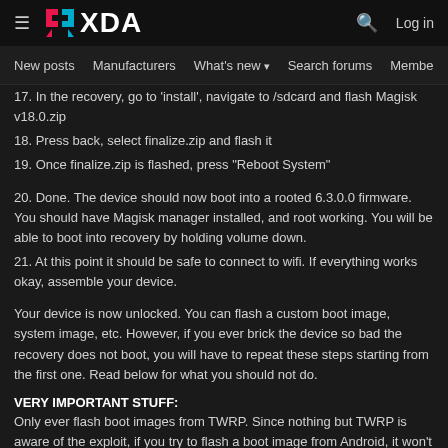XDA Forums navigation header with hamburger menu, XDA logo, search icon, Log in button, and nav items: New posts, Manufacturers, What's new, Search forums, Membe...
17. In the recovery, go to 'install', navigate to /sdcard and flash Magisk v18.0.zip
18. Press back, select finalize.zip and flash it
19. Once finalize.zip is flashed, press "Reboot System"
20. Done. The device should now boot into a rooted 6.3.0.0 firmware. You should have Magisk manager installed, and root working. You will be able to boot into recovery by holding volume down.
21. At this point it should be safe to connect to wifi. If everything works okay, assemble your device.
Your device is now unlocked. You can flash a custom boot image, system image, etc. However, if you ever brick the device so bad the recovery does not boot, you will have to repeat these steps starting from the first one. Read below for what you should not do.
VERY IMPORTANT STUFF:
Only ever flash boot images from TWRP. Since nothing but TWRP is aware of the exploit, if you try to flash a boot image from Android, it won't have the exploit integrated into it! This includes Magisk as well, so do NOT...